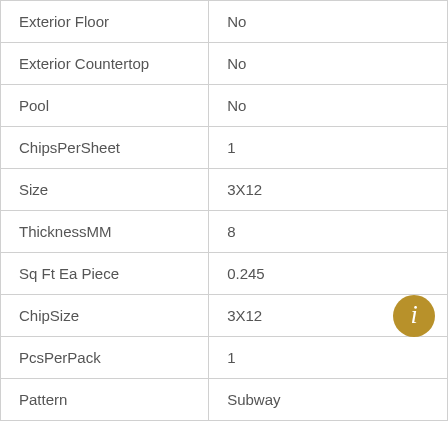| Property | Value |
| --- | --- |
| Exterior Floor | No |
| Exterior Countertop | No |
| Pool | No |
| ChipsPerSheet | 1 |
| Size | 3X12 |
| ThicknessMM | 8 |
| Sq Ft Ea Piece | 0.245 |
| ChipSize | 3X12 |
| PcsPerPack | 1 |
| Pattern | Subway |